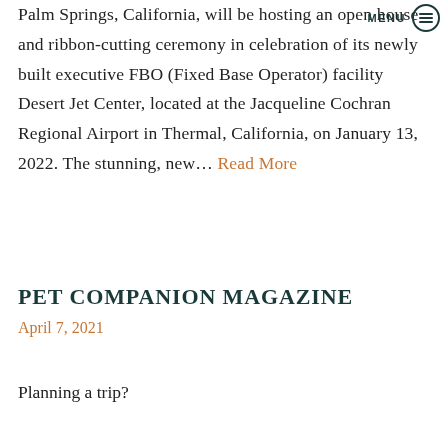MENU
Palm Springs, California, will be hosting an open house and ribbon-cutting ceremony in celebration of its newly built executive FBO (Fixed Base Operator) facility Desert Jet Center, located at the Jacqueline Cochran Regional Airport in Thermal, California, on January 13, 2022. The stunning, new… Read More
PET COMPANION MAGAZINE
April 7, 2021
Planning a trip?